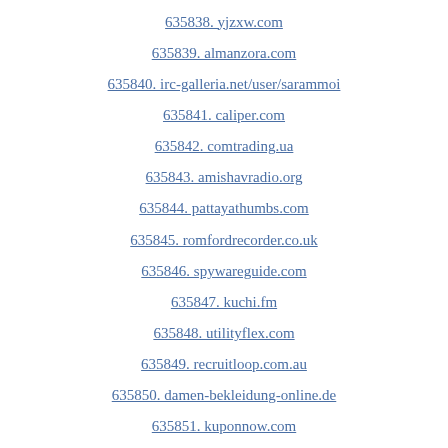635838. yjzxw.com
635839. almanzora.com
635840. irc-galleria.net/user/sarammoi
635841. caliper.com
635842. comtrading.ua
635843. amishavradio.org
635844. pattayathumbs.com
635845. romfordrecorder.co.uk
635846. spywareguide.com
635847. kuchi.fm
635848. utilityflex.com
635849. recruitloop.com.au
635850. damen-bekleidung-online.de
635851. kuponnow.com